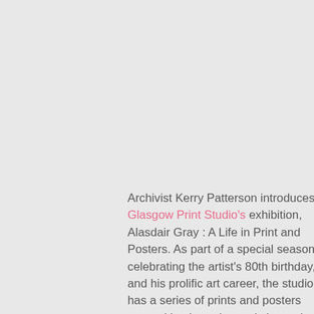Archivist Kerry Patterson introduces Glasgow Print Studio's exhibition, Alasdair Gray : A Life in Print and Posters. As part of a special season celebrating the artist's 80th birthday, and his prolific art career, the studio has a series of prints and posters created by the artist, and shows the development of Gray's work since first working with the studio in the 1970s.
Alasdair Gray is widely considered to be one of Scotland's most influential artists, creating a large body of work that covers many disciplines, from printmaking and illustration, to mural work and playwriting. Gray's best-known visuals are his illustrations for his books. Working closely with the Glasgow Print Studio since the 70s,